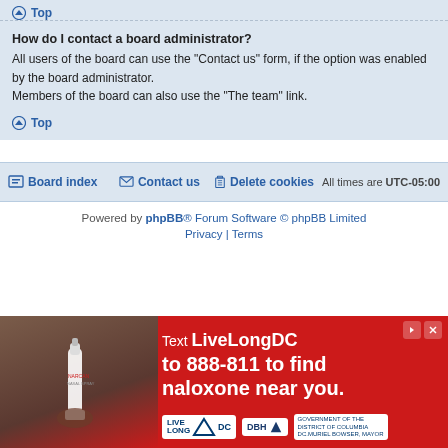Top
How do I contact a board administrator?
All users of the board can use the "Contact us" form, if the option was enabled by the board administrator.
Members of the board can also use the "The team" link.
Top
Board index   Contact us   Delete cookies   All times are UTC-05:00
Powered by phpBB® Forum Software © phpBB Limited
Privacy | Terms
[Figure (photo): Advertisement banner: red background with text 'Text LiveLongDC to 888-811 to find naloxone near you.' with LIVE LONG DC and DBH logos, and a hand holding a nasal spray.]